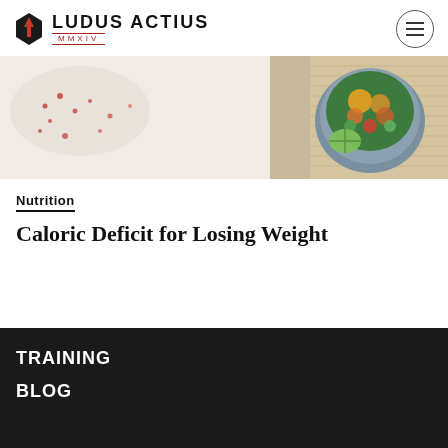LUDUS ACTIUS MMXIV
[Figure (photo): Banner photo showing a bowl of colorful salad with lime and scattered spices on a white surface]
Nutrition
Caloric Deficit for Losing Weight
TRAINING
BLOG